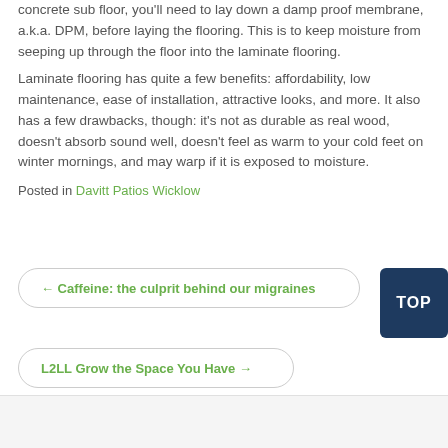concrete sub floor, you'll need to lay down a damp proof membrane, a.k.a. DPM, before laying the flooring. This is to keep moisture from seeping up through the floor into the laminate flooring.
Laminate flooring has quite a few benefits: affordability, low maintenance, ease of installation, attractive looks, and more. It also has a few drawbacks, though: it’s not as durable as real wood, doesn’t absorb sound well, doesn’t feel as warm to your cold feet on winter mornings, and may warp if it is exposed to moisture.
Posted in Davitt Patios Wicklow
← Caffeine: the culprit behind our migraines
L2LL Grow the Space You Have →